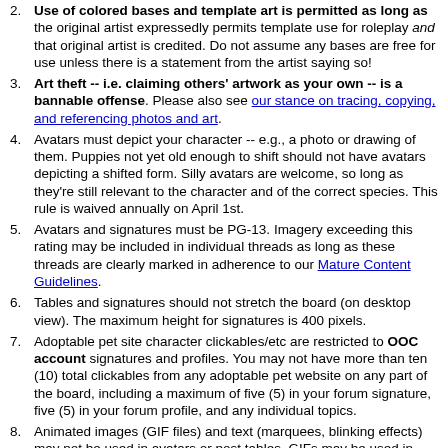2. Use of colored bases and template art is permitted as long as the original artist expressedly permits template use for roleplay and that original artist is credited. Do not assume any bases are free for use unless there is a statement from the artist saying so!
3. Art theft -- i.e. claiming others' artwork as your own -- is a bannable offense. Please also see our stance on tracing, copying, and referencing photos and art.
4. Avatars must depict your character -- e.g., a photo or drawing of them. Puppies not yet old enough to shift should not have avatars depicting a shifted form. Silly avatars are welcome, so long as they're still relevant to the character and of the correct species. This rule is waived annually on April 1st.
5. Avatars and signatures must be PG-13. Imagery exceeding this rating may be included in individual threads as long as these threads are clearly marked in adherence to our Mature Content Guidelines.
6. Tables and signatures should not stretch the board (on desktop view). The maximum height for signatures is 400 pixels.
7. Adoptable pet site character clickables/etc are restricted to OOC account signatures and profiles. You may not have more than ten (10) total clickables from any adoptable pet website on any part of the board, including a maximum of five (5) in your forum signature, five (5) in your forum profile, and any individual topics.
8. Animated images (GIF files) and text (marquees, blinking effects) may not be used in avatars or post tables. GIFs may be used in profiles and signatures, provided the animation is non-intrusive (e.g., not overly distracting), loops smoothly (e.g., not flashing, strobing, or looping at a high speed), and not excessive (e.g., 10+ animated banners in your signature).